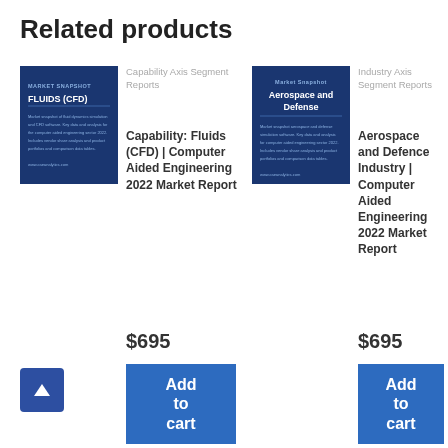Related products
[Figure (photo): Market Snapshot cover image for Fluids (CFD) report, dark blue background with white text]
Capability Axis Segment Reports
Capability: Fluids (CFD) | Computer Aided Engineering 2022 Market Report
$695
[Figure (photo): Market Snapshot cover image for Aerospace and Defense report, dark blue background with white text]
Industry Axis Segment Reports
Aerospace and Defence Industry | Computer Aided Engineering 2022 Market Report
$695